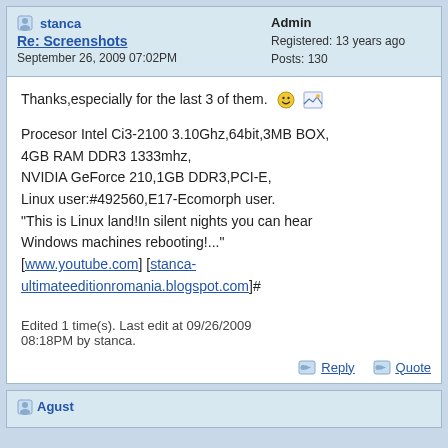stanca | Re: Screenshots | September 26, 2009 07:02PM | Admin | Registered: 13 years ago | Posts: 130
Thanks,especially for the last 3 of them.
Procesor Intel Ci3-2100 3.10Ghz,64bit,3MB BOX,
4GB RAM DDR3 1333mhz,
NVIDIA GeForce 210,1GB DDR3,PCI-E,
Linux user:#492560,E17-Ecomorph user.
"This is Linux land!In silent nights you can hear Windows machines rebooting!..."
[www.youtube.com] [stanca-ultimateeditionromania.blogspot.com]#
Edited 1 time(s). Last edit at 09/26/2009 08:18PM by stanca.
Reply | Quote
Agust